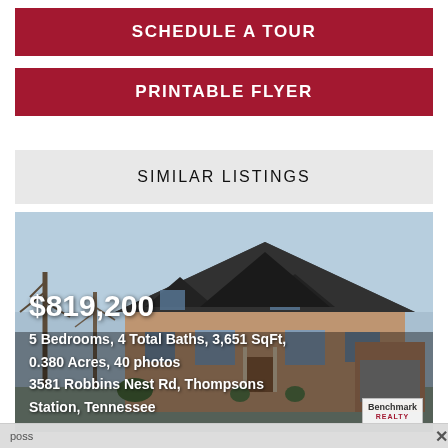SCHEDULE A TOUR
PRINTABLE FLYER
SIMILAR LISTINGS
[Figure (photo): Exterior photo of a large two-story brick house with steep gabled roofline, bare winter trees, blue sky background. Price overlay shows $819,200, 5 Bedrooms, 4 Total Baths, 3,651 SqFt, 0.380 Acres, 40 photos, 3581 Robbins Nest Rd, Thompsons Station, Tennessee. Benchmark Realty logo visible in bottom right.]
$819,200
5 Bedrooms, 4 Total Baths, 3,651 SqFt, 0.380 Acres, 40 photos
3581 Robbins Nest Rd, Thompsons Station, Tennessee
poss